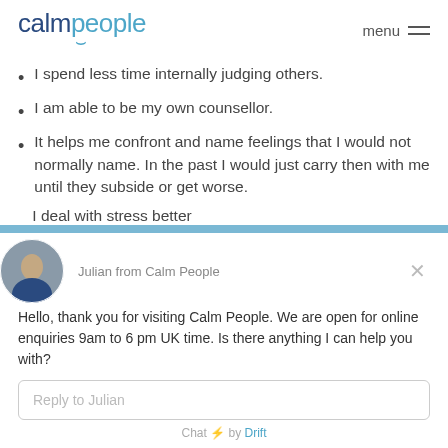calm people — menu
I spend less time internally judging others.
I am able to be my own counsellor.
It helps me confront and name feelings that I would not normally name. In the past I would just carry then with me until they subside or get worse.
I deal with stress better
[Figure (screenshot): Chat widget from Drift showing Julian from Calm People with a welcome message and reply input field]
Julian from Calm People
Hello, thank you for visiting Calm People. We are open for online enquiries 9am to 6 pm UK time. Is there anything I can help you with?
Reply to Julian
Chat ⚡ by Drift